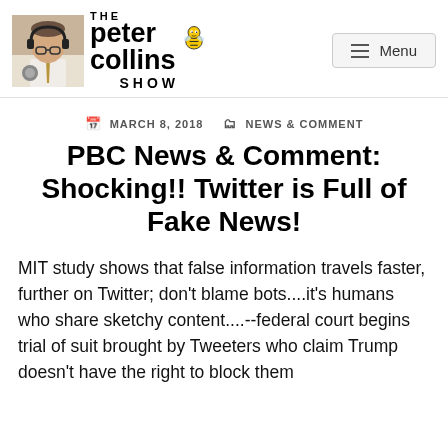[Figure (logo): The Peter Collins Show logo with photo of host wearing headphones on left, stylized bold text 'THE peter collins SHOW' with bee mascot icon]
MARCH 8, 2018   NEWS & COMMENT
PBC News & Comment: Shocking!! Twitter is Full of Fake News!
MIT study shows that false information travels faster, further on Twitter; don't blame bots....it's humans who share sketchy content....--federal court begins trial of suit brought by Tweeters who claim Trump doesn't have the right to block them